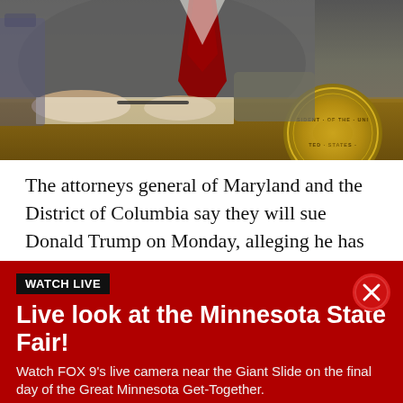[Figure (photo): A person in a suit with a red tie sitting at a desk signing a document, with a partial view of the Presidential seal visible on the desk.]
The attorneys general of Maryland and the District of Columbia say they will sue Donald Trump on Monday, alleging he has violated the Constitution by taking payments from foreign governments as president.
Maryland Attorney General Brian Frosh outlined details of the lawsuit in an interview with The Associated Press. Much of it is focused on alleged violations of the emoluments clause of the Constitution, based on
[Figure (screenshot): Watch Live banner overlay with dark red background. Contains a 'WATCH LIVE' badge, close button (X circle), headline 'Live look at the Minnesota State Fair!', and subtext 'Watch FOX 9's live camera near the Giant Slide on the final day of the Great Minnesota Get-Together.']